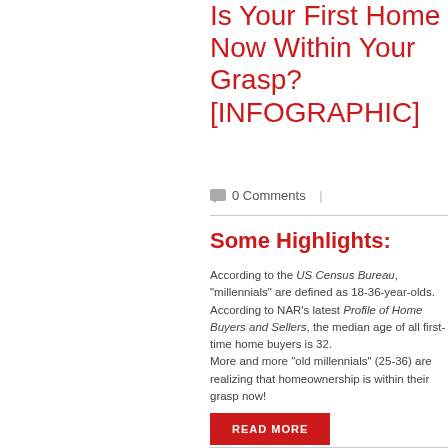Is Your First Home Now Within Your Grasp? [INFOGRAPHIC]
0 Comments
Some Highlights:
According to the US Census Bureau, “millennials” are defined as 18-36-year-olds.
According to NAR’s latest Profile of Home Buyers and Sellers, the median age of all first-time home buyers is 32.
More and more “old millennials” (25-36) are realizing that homeownership is within their grasp now!
READ MORE